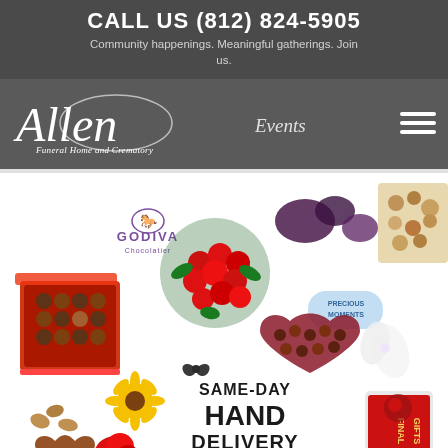CALL US (812) 824-5905
Community happenings. Meaningful gatherings. Join us.
[Figure (logo): Allen Funeral Home and Crematory logo with script text and 1917-2017 100th Anniversary tagline, alongside 'Events' text and hamburger menu icon]
[Figure (photo): Advertisement showing Godiva chocolates, flowers including red rose bouquet, yellow daisy, chocolate heart, various gift items, and text reading 'SAME-DAY HAND DELIVERY on all flowers' with Final Gifts branding visible]